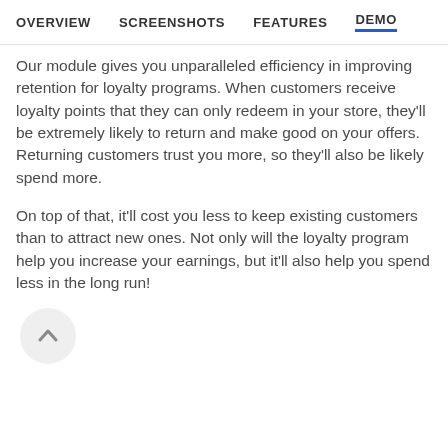OVERVIEW   SCREENSHOTS   FEATURES   DEMO
Our module gives you unparalleled efficiency in improving retention for loyalty programs. When customers receive loyalty points that they can only redeem in your store, they'll be extremely likely to return and make good on your offers. Returning customers trust you more, so they'll also be likely spend more.
On top of that, it'll cost you less to keep existing customers than to attract new ones. Not only will the loyalty program help you increase your earnings, but it'll also help you spend less in the long run!